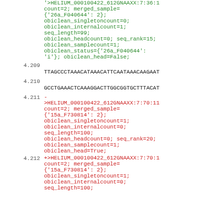continuation of green code block: count=2; merged_sample={'26a_F040644': 2}; obiclean_singletoncount=0; obiclean_internalcount=1; seq_length=99; obiclean_headcount=0; seq_rank=15; obiclean_samplecount=1; obiclean_status={'26a_F040644': 'i'}; obiclean_head=False;
4.209   TTAGCCCTAAACATAAACATTCAATAAACAAGAAT
4.210   GCCTGAAACTCAAAGGACTTGGCGGTGCTTTACAT
4.211   -
>HELIUM_000100422_612GNAAXX:7:70:11
count=2; merged_sample={'15a_F730814': 2}; obiclean_singletoncount=1; obiclean_internalcount=0; seq_length=100; obiclean_headcount=0; seq_rank=20; obiclean_samplecount=1; obiclean_head=True;
4.212   +>HELIUM_000100422_612GNAAXX:7:70:1
count=2; merged_sample={'15a_F730814': 2}; obiclean_singletoncount=1; obiclean_internalcount=0; seq_length=100;